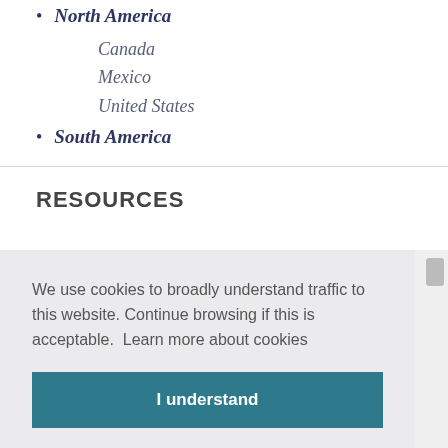North America
Canada
Mexico
United States
South America
RESOURCES
We use cookies to broadly understand traffic to this website. Continue browsing if this is acceptable.  Learn more about cookies
I understand